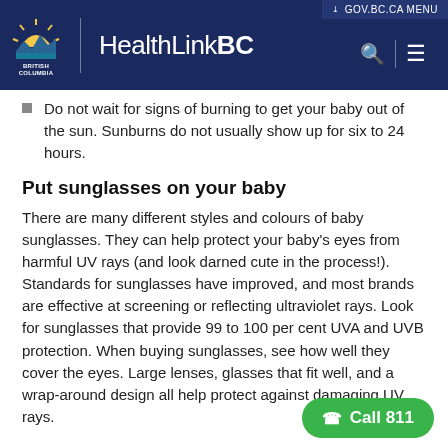HealthLinkBC — GOV.BC.CA MENU
Do not wait for signs of burning to get your baby out of the sun. Sunburns do not usually show up for six to 24 hours.
Put sunglasses on your baby
There are many different styles and colours of baby sunglasses. They can help protect your baby's eyes from harmful UV rays (and look darned cute in the process!). Standards for sunglasses have improved, and most brands are effective at screening or reflecting ultraviolet rays. Look for sunglasses that provide 99 to 100 per cent UVA and UVB protection. When buying sunglasses, see how well they cover the eyes. Large lenses, glasses that fit well, and a wrap-around design all help protect against damaging UV rays.